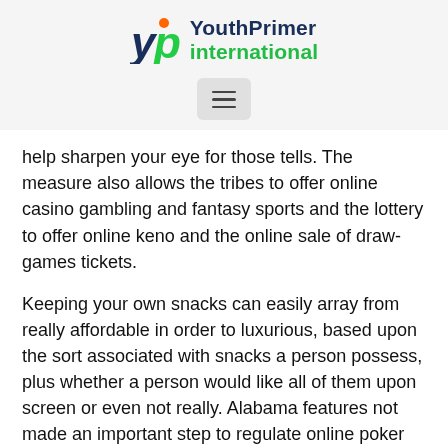[Figure (logo): YouthPrimer international logo with stylized 'yp' letters and green/orange accents]
[Figure (other): Hamburger menu button with three horizontal lines]
help sharpen your eye for those tells. The measure also allows the tribes to offer online casino gambling and fantasy sports and the lottery to offer online keno and the online sale of draw-games tickets.
Keeping your own snacks can easily array from really affordable in order to luxurious, based upon the sort associated with snacks a person possess, plus whether a person would like all of them upon screen or even not really. Alabama features not made an important step to regulate online poker present in any web form via their talk about legislature, they implement not make avallable any legal state-regulated online gambling solutions hence. Description of Cell phone Video gaming: Taking part in digital activities